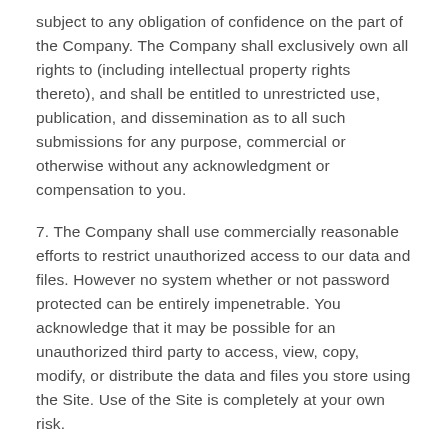subject to any obligation of confidence on the part of the Company. The Company shall exclusively own all rights to (including intellectual property rights thereto), and shall be entitled to unrestricted use, publication, and dissemination as to all such submissions for any purpose, commercial or otherwise without any acknowledgment or compensation to you.
7. The Company shall use commercially reasonable efforts to restrict unauthorized access to our data and files. However no system whether or not password protected can be entirely impenetrable. You acknowledge that it may be possible for an unauthorized third party to access, view, copy, modify, or distribute the data and files you store using the Site. Use of the Site is completely at your own risk.
8. The Company will not intentionally disclose any personally identifying information about you to third